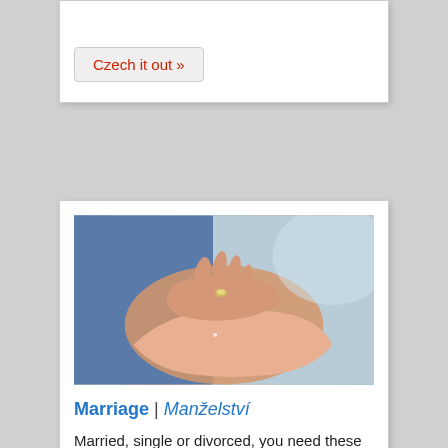Czech it out »
[Figure (photo): Close-up of two hands, one placing a ring on the other's finger, suggesting a marriage or engagement scene.]
Marriage | Manželství
Married, single or divorced, you need these Czech phrases.